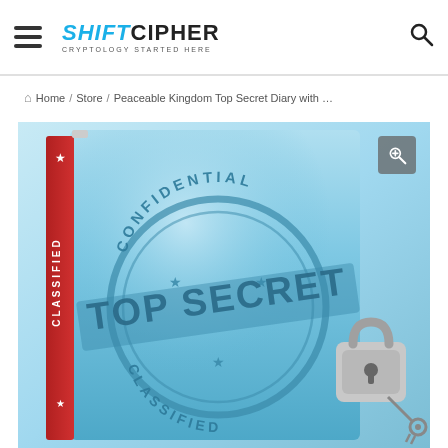ShiftCipher — CRYPTOLOGY STARTED HERE
Home / Store / Peaceable Kingdom Top Secret Diary with …
[Figure (photo): Product photo of a blue hardcover diary with a 'Confidential Top Secret Classified' stamp design on the cover and a physical padlock with keys on the right side. The spine reads 'CLASSIFIED' in red. A zoom/magnify button overlay is in the top-right corner of the image.]